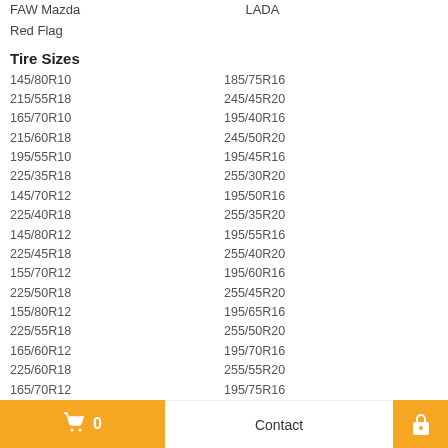Ravon
FAW Mazda
LADA
Red Flag
Tire Sizes
145/80R10  185/75R16
215/55R18  245/45R20
165/70R10  195/40R16
215/60R18  245/50R20
195/55R10  195/45R16
225/35R18  255/30R20
145/70R12  195/50R16
225/40R18  255/35R20
145/80R12  195/55R16
225/45R18  255/40R20
155/70R12  195/60R16
225/50R18  255/45R20
155/80R12  195/65R16
225/55R18  255/50R20
165/60R12  195/70R16
225/60R18  255/55R20
165/70R12  195/75R16
225/65R18  255/60R20
185/60R12  205/40R16
235/40R18  ...
🛒 0   Contact   🔒